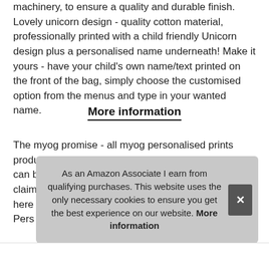machinery, to ensure a quality and durable finish. Lovely unicorn design - quality cotton material, professionally printed with a child friendly Unicorn design plus a personalised name underneath! Make it yours - have your child's own name/text printed on the front of the bag, simply choose the customised option from the menus and type in your wanted name.
More information
The myog promise - all myog personalised prints products are made to the highest standards so you can be sure that you will love them! And we back this claim with outstanding customer service so we are here to help when you need us! Pers... favo... ruck...
As an Amazon Associate I earn from qualifying purchases. This website uses the only necessary cookies to ensure you get the best experience on our website. More information